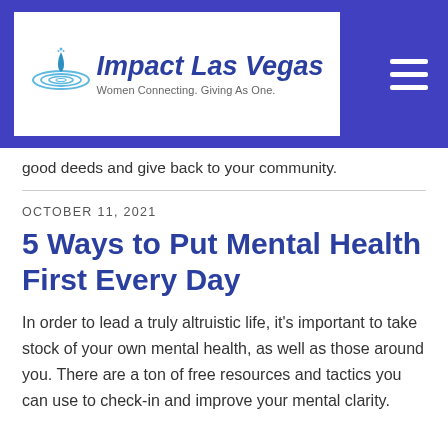[Figure (logo): Impact Las Vegas logo: water ripple graphic with italic bold blue text 'Impact Las Vegas' and subtitle 'Women Connecting. Giving As One.' on white background, inside a blue header bar with a hamburger menu icon on the right.]
good deeds and give back to your community.
OCTOBER 11, 2021
5 Ways to Put Mental Health First Every Day
In order to lead a truly altruistic life, it's important to take stock of your own mental health, as well as those around you. There are a ton of free resources and tactics you can use to check-in and improve your mental clarity.